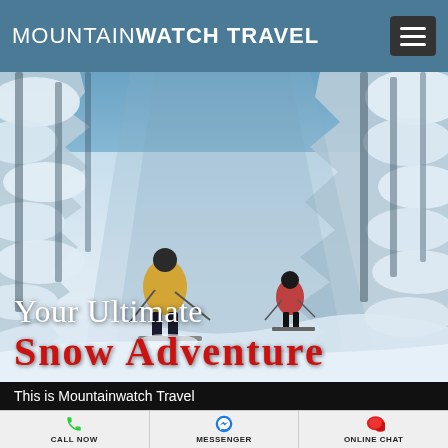MOUNTAINWATCH TRAVEL
[Figure (photo): Two skiers descending a steep powder run through snow-covered trees. The lead skier wears a yellow jacket, the second wears red. Deep snow banks line both sides of the trail.]
Your Ultimate Snow Adventure
This is Mountainwatch Travel
CALL NOW
MESSENGER
ONLINE CHAT